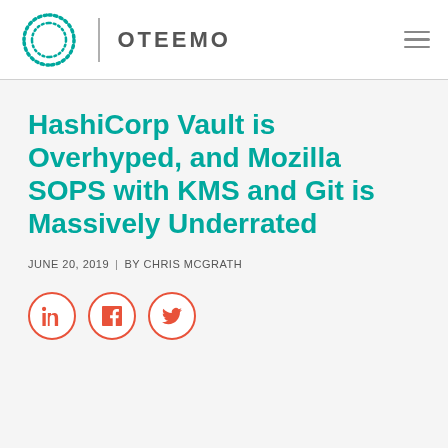OTEEMO
HashiCorp Vault is Overhyped, and Mozilla SOPS with KMS and Git is Massively Underrated
JUNE 20, 2019 | BY CHRIS MCGRATH
[Figure (infographic): Social share icons: LinkedIn, Facebook, Twitter in red circle outlines]